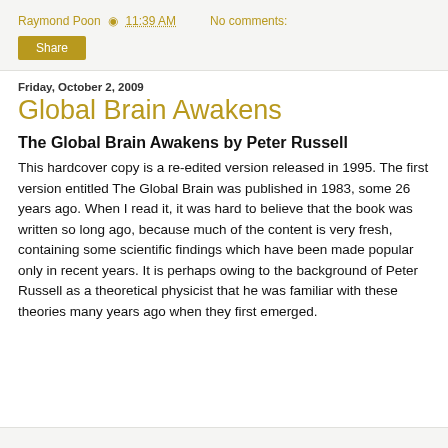Raymond Poon · 11:39 AM   No comments:
Share
Friday, October 2, 2009
Global Brain Awakens
The Global Brain Awakens by Peter Russell
This hardcover copy is a re-edited version released in 1995. The first version entitled The Global Brain was published in 1983, some 26 years ago. When I read it, it was hard to believe that the book was written so long ago, because much of the content is very fresh, containing some scientific findings which have been made popular only in recent years. It is perhaps owing to the background of Peter Russell as a theoretical physicist that he was familiar with these theories many years ago when they first emerged.